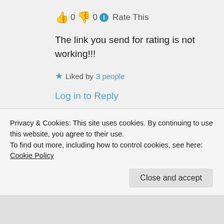👍 0 👎 0 ℹ Rate This
The link you send for rating is not working!!!
★ Liked by 3 people
Log in to Reply
PIYUSH BILANDI on 21/06/2017 at 18:01
Privacy & Cookies: This site uses cookies. By continuing to use this website, you agree to their use.
To find out more, including how to control cookies, see here: Cookie Policy
Close and accept